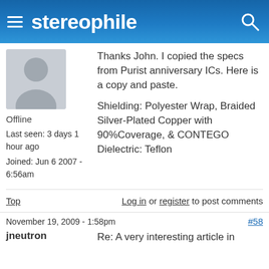stereophile
[Figure (illustration): Default user avatar silhouette in gray]
Thanks John. I copied the specs from Purist anniversary ICs. Here is a copy and paste.
Offline
Shielding: Polyester Wrap, Braided Silver-Plated Copper with 90%Coverage, & CONTEGO
Dielectric: Teflon
Last seen: 3 days 1 hour ago
Joined: Jun 6 2007 - 6:56am
Top
Log in or register to post comments
November 19, 2009 - 1:58pm
#58
jneutron
Re: A very interesting article in